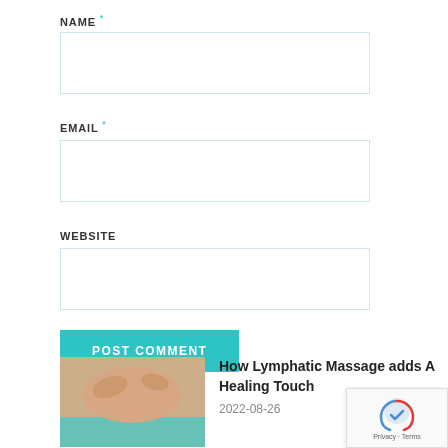NAME *
EMAIL *
WEBSITE
POST COMMENT
TRENDING
[Figure (photo): Person receiving a back/shoulder massage, therapist wearing teal uniform]
How Lymphatic Massage adds A Healing Touch
2022-08-26